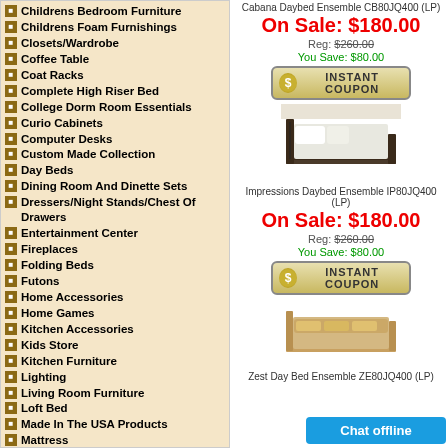Childrens Bedroom Furniture
Childrens Foam Furnishings
Closets/Wardrobe
Coffee Table
Coat Racks
Complete High Riser Bed
College Dorm Room Essentials
Curio Cabinets
Computer Desks
Custom Made Collection
Day Beds
Dining Room And Dinette Sets
Dressers/Night Stands/Chest Of Drawers
Entertainment Center
Fireplaces
Folding Beds
Futons
Home Accessories
Home Games
Kitchen Accessories
Kids Store
Kitchen Furniture
Lighting
Living Room Furniture
Loft Bed
Made In The USA Products
Mattress
Microwave Carts
Mix And Match Hallway Furniture
Mix And Match Closet Systems
Office Furniture
Partitions And Room Dividers
Shoe Storage
Triple Bunk Bed
The Outdoors
Unfinished Furniture
Umbrella Stand
Cabana Daybed Ensemble CB80JQ400 (LP)
On Sale: $180.00
Reg: $260.00
You Save: $80.00
[Figure (other): INSTANT COUPON button with dollar sign icon]
[Figure (photo): Impressions daybed with white bedding on dark metal frame]
Impressions Daybed Ensemble IP80JQ400 (LP)
On Sale: $180.00
Reg: $260.00
You Save: $80.00
[Figure (other): INSTANT COUPON button with dollar sign icon]
[Figure (photo): Zest Day Bed on light wood frame with cushions]
Zest Day Bed Ensemble ZE80JQ400 (LP)
[Figure (other): Chat offline button]